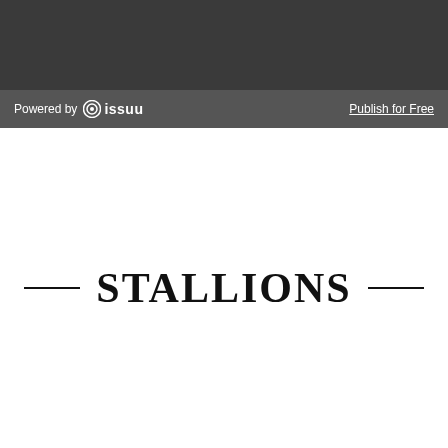[Figure (logo): Dark grey header banner with Issuu branding toolbar showing 'Powered by issuu' on the left and 'Publish for Free' link on the right]
STALLIONS